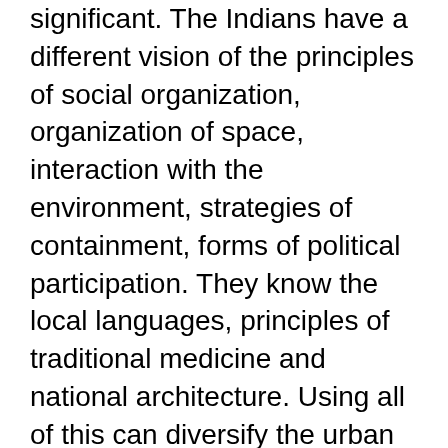significant. The Indians have a different vision of the principles of social organization, organization of space, interaction with the environment, strategies of containment, forms of political participation. They know the local languages, principles of traditional medicine and national architecture. Using all of this can diversify the urban environment and make it more friendly.
A famous example is the participation of aboriginal people in the urban life and participate in the life of the state is the Bolivian city of El Alto. The Aymara Indians, through their traditional authority — neighborhood councils — not only played a leading role in the creation of urban space and its management, but has also become the Central force of government policy.
Less well-known examples are the suburbs of Buenos